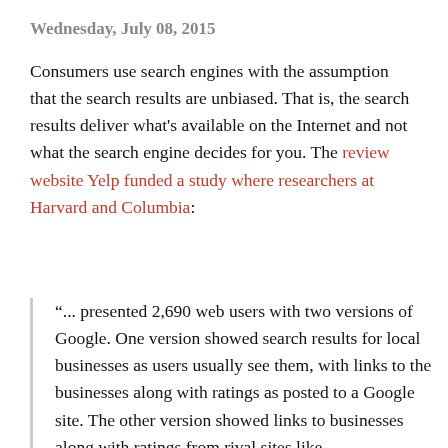Wednesday, July 08, 2015
Consumers use search engines with the assumption that the search results are unbiased. That is, the search results deliver what's available on the Internet and not what the search engine decides for you. The review website Yelp funded a study where researchers at Harvard and Columbia:
"... presented 2,690 web users with two versions of Google. One version showed search results for local businesses as users usually see them, with links to the businesses along with ratings as posted to a Google site. The other version showed links to businesses along with ratings from rival sites like